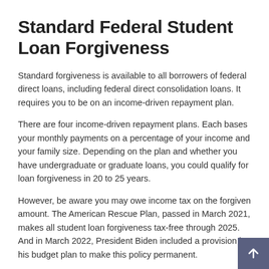Standard Federal Student Loan Forgiveness
Standard forgiveness is available to all borrowers of federal direct loans, including federal direct consolidation loans. It requires you to be on an income-driven repayment plan.
There are four income-driven repayment plans. Each bases your monthly payments on a percentage of your income and your family size. Depending on the plan and whether you have undergraduate or graduate loans, you could qualify for loan forgiveness in 20 to 25 years.
However, be aware you may owe income tax on the forgiven amount. The American Rescue Plan, passed in March 2021, makes all student loan forgiveness tax-free through 2025. And in March 2022, President Biden included a provision in his budget plan to make this policy permanent.